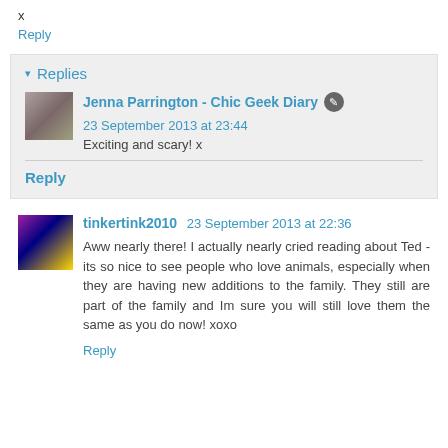x
Reply
▾ Replies
Jenna Parrington - Chic Geek Diary ✎ 23 September 2013 at 23:44
Exciting and scary! x
Reply
tinkertink2010  23 September 2013 at 22:36
Aww nearly there! I actually nearly cried reading about Ted - its so nice to see people who love animals, especially when they are having new additions to the family. They still are part of the family and Im sure you will still love them the same as you do now! xoxo
Reply